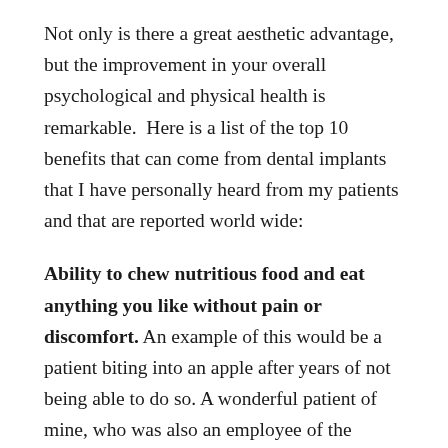Not only is there a great aesthetic advantage, but the improvement in your overall psychological and physical health is remarkable.  Here is a list of the top 10 benefits that can come from dental implants that I have personally heard from my patients and that are reported world wide:
Ability to chew nutritious food and eat anything you like without pain or discomfort. An example of this would be a patient biting into an apple after years of not being able to do so. A wonderful patient of mine, who was also an employee of the company had struggled with failing teeth for years. She informed me about her avoidance of eating out with